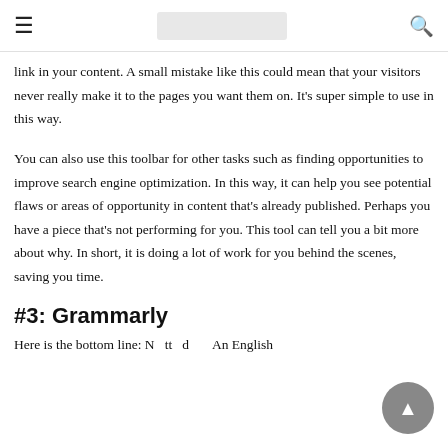≡  [search bar]  🔍
link in your content. A small mistake like this could mean that your visitors never really make it to the pages you want them on. It's super simple to use in this way.
You can also use this toolbar for other tasks such as finding opportunities to improve search engine optimization. In this way, it can help you see potential flaws or areas of opportunity in content that's already published. Perhaps you have a piece that's not performing for you. This tool can tell you a bit more about why. In short, it is doing a lot of work for you behind the scenes, saving you time.
#3: Grammarly
Here is the bottom line: N...tt...d....... An English...